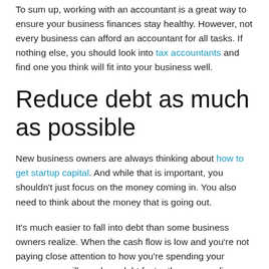To sum up, working with an accountant is a great way to ensure your business finances stay healthy. However, not every business can afford an accountant for all tasks. If nothing else, you should look into tax accountants and find one you think will fit into your business well.
Reduce debt as much as possible
New business owners are always thinking about how to get startup capital. And while that is important, you shouldn't just focus on the money coming in. You also need to think about the money that is going out.
It's much easier to fall into debt than some business owners realize. When the cash flow is low and you're not paying close attention to how you're spending your money, you will wrack up debt faster than you realize.